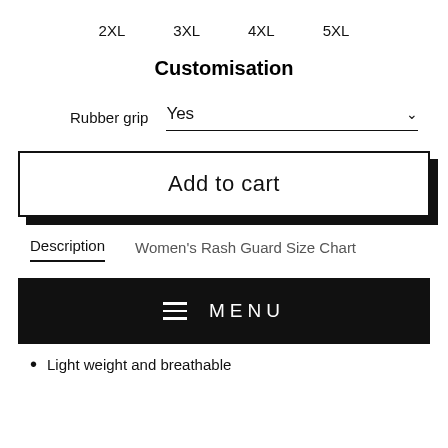2XL   3XL   4XL   5XL
Customisation
Rubber grip   Yes   ∨
Add to cart
Description   Women's Rash Guard Size Chart
MENU
Light weight and breathable